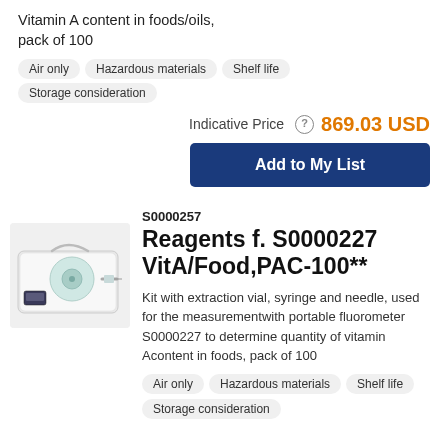Vitamin A content in foods/oils, pack of 100
Air only
Hazardous materials
Shelf life
Storage consideration
Indicative Price 869.03 USD
Add to My List
[Figure (photo): Photo of a portable fluorometer kit in a white carrying case with accessories]
S0000257
Reagents f. S0000227 VitA/Food,PAC-100**
Kit with extraction vial, syringe and needle, used for the measurementwith portable fluorometer S0000227 to determine quantity of vitamin Acontent in foods, pack of 100
Air only
Hazardous materials
Shelf life
Storage consideration